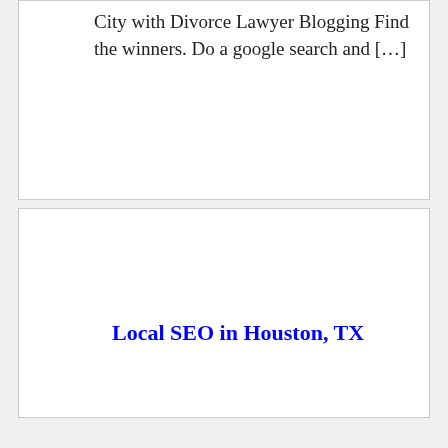City with Divorce Lawyer Blogging Find the winners. Do a google search and […]
Local SEO in Houston, TX